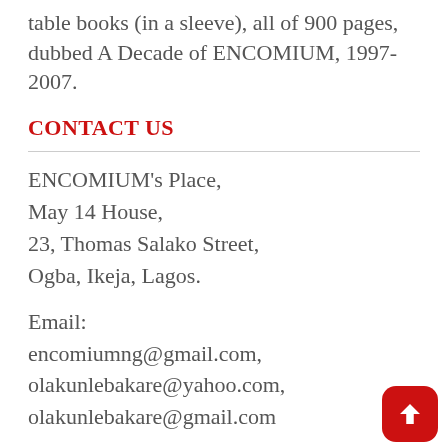table books (in a sleeve), all of 900 pages, dubbed A Decade of ENCOMIUM, 1997-2007.
CONTACT US
ENCOMIUM's Place,
May 14 House,
23, Thomas Salako Street,
Ogba, Ikeja, Lagos.
Email:
encomiumng@gmail.com,
olakunlebakare@yahoo.com,
olakunlebakare@gmail.com
Phone: